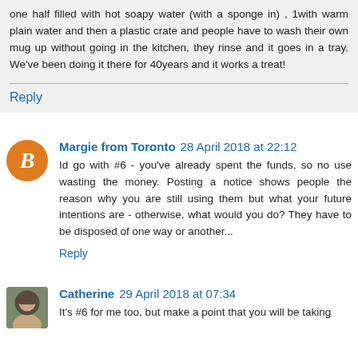one half filled with hot soapy water (with a sponge in) , 1with warm plain water and then a plastic crate and people have to wash their own mug up without going in the kitchen, they rinse and it goes in a tray. We've been doing it there for 40years and it works a treat!
Reply
Margie from Toronto  28 April 2018 at 22:12
Id go with #6 - you've already spent the funds, so no use wasting the money. Posting a notice shows people the reason why you are still using them but what your future intentions are - otherwise, what would you do? They have to be disposed of one way or another...
Reply
Catherine  29 April 2018 at 07:34
It's #6 for me too, but make a point that you will be taking